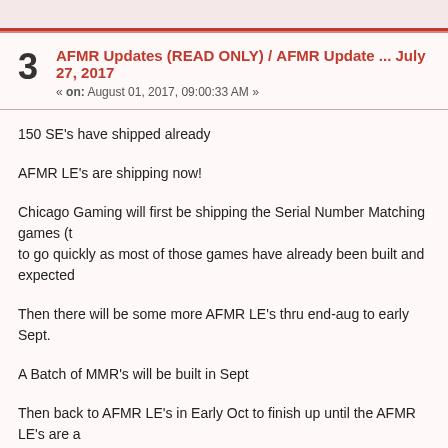AFMR Updates (READ ONLY) / AFMR Update ... July 27, 2017 « on: August 01, 2017, 09:00:33 AM »
150 SE's have shipped already
AFMR LE's are shipping now!
Chicago Gaming will first be shipping the Serial Number Matching games (to go quickly as most of those games have already been built and expected
Then there will be some more AFMR LE's thru end-aug to early Sept.
A Batch of MMR's will be built in Sept
Then back to AFMR LE's in Early Oct to finish up until the AFMR LE's are a
So, we are in pretty good shape on getting games out.
rick